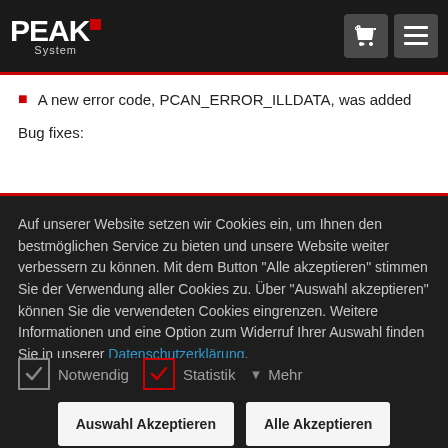PEAK System
A new error code, PCAN_ERROR_ILLDATA, was added
Bug fixes:
Auf unserer Website setzen wir Cookies ein, um Ihnen den bestmöglichen Service zu bieten und unsere Website weiter verbessern zu können. Mit dem Button "Alle akzeptieren" stimmen Sie der Verwendung aller Cookies zu. Über "Auswahl akzeptieren" können Sie die verwendeten Cookies eingrenzen. Weitere Informationen und eine Option zum Widerruf Ihrer Auswahl finden Sie in unserer Datenschutzerklärung.
Notwendig  Statistik  Mehr
Auswahl Akzeptieren  Alle Akzeptieren